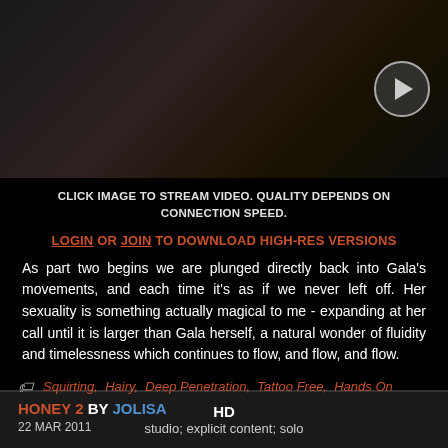[Figure (photo): Dark artistic photo thumbnail with play button overlay]
CLICK IMAGE TO STREAM VIDEO. QUALITY DEPENDS ON CONNECTION SPEED.
LOGIN OR JOIN TO DOWNLOAD HIGH-RES VERSIONS
As part two begins we are plunged directly back into Gala's movements, and each time it's as if we never left off. Her sexuality is something actually magical to me - expanding at her call until it is larger than Gala herself, a natural wonder of fluidity and timelessness which continues to flow, and flow, and flow.
Squirting, Hairy, Deep Penetration, Tattoo Free, Hands On
HD
studio; explicit content; solo
HONEY 2 BY JOLISA
22 MAR 2011